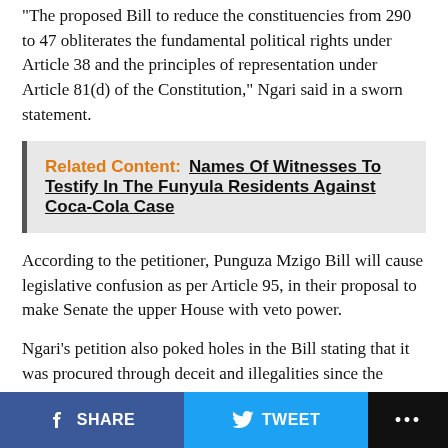"The proposed Bill to reduce the constituencies from 290 to 47 obliterates the fundamental political rights under Article 38 and the principles of representation under Article 81(d) of the Constitution," Ngari said in a sworn statement.
Related Content: Names Of Witnesses To Testify In The Funyula Residents Against Coca-Cola Case
According to the petitioner, Punguza Mzigo Bill will cause legislative confusion as per Article 95, in their proposal to make Senate the upper House with veto power.
Ngari's petition also poked holes in the Bill stating that it was procured through deceit and illegalities since the signatures are not genuine.
SHARE   TWEET   ...